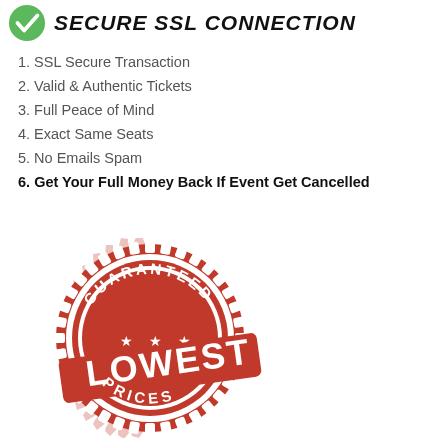[Figure (logo): Green checkmark icon with 'SECURE SSL CONNECTION' title text]
1. SSL Secure Transaction
2. Valid & Authentic Tickets
3. Full Peace of Mind
4. Exact Same Seats
5. No Emails Spam
6. Get Your Full Money Back If Event Get Cancelled
[Figure (illustration): Red and white 'Guaranteed Lowest Prices' stamp/seal badge]